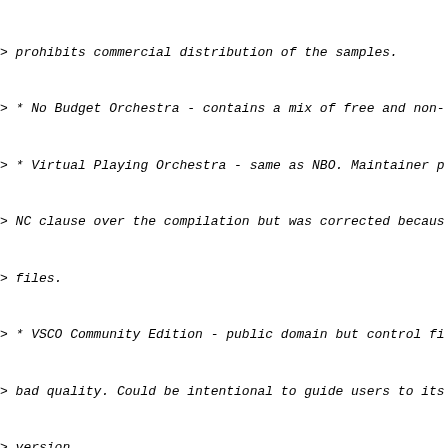> prohibits commercial distribution of the samples.
> * No Budget Orchestra - contains a mix of free and non-
> * Virtual Playing Orchestra - same as NBO. Maintainer p
> NC clause over the compilation but was corrected becaus
> files.
> * VSCO Community Edition - public domain but control fi
> bad quality. Could be intentional to guide users to its
> version.
>
> So I decided to make orchestra with freedom in mind. I
> libre instruments from No Budget Orchestra into a separ
> called it Libre Orchestra.
>
> https://libreorchestra.net/
>
> The orchestra uses SFZ format as it is the common forma
> libre sampled instruments. However, there is no libre s
> GNU/Linux. LinuxSampler comes close but its backend has
> SFZero is MIT but has no GNU/Linux port.
>
> The orchestra repository is hosted on GitLab and I prov
> versions for download. I hope to see it in official Deb
> and other 100% libre FSF approved distributions.
>
> If you can contribute samples or SFZ files or make libr
> your help will be greatly appreciated.
>
>
WONDERFUL! I hope to find time to check it out soon (just